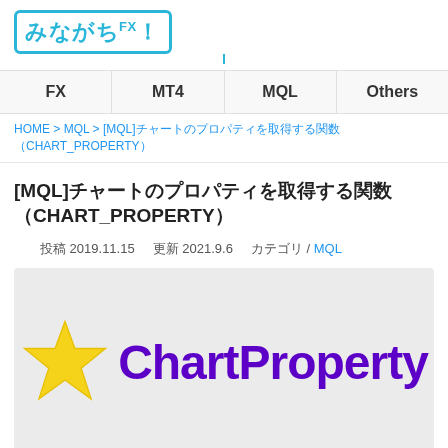[Figure (logo): みながちFX! logo in a cyan bordered box]
FX  MT4  MQL  Others
HOME > MQL > [MQL]チャートのプロパティを取得する関数（CHART_PROPERTY）
[MQL]チャートのプロパティを取得する関数（CHART_PROPERTY）
投稿 2019.11.15  更新 2021.9.6  カテゴリ / MQL
[Figure (illustration): Yellow star icon next to purple bold text ChartProperty on light gray background]